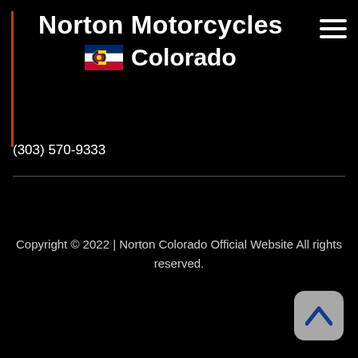Norton Motorcycles Colorado
(303) 570-9333
Copyright © 2022 | Norton Colorado Official Website All rights reserved.